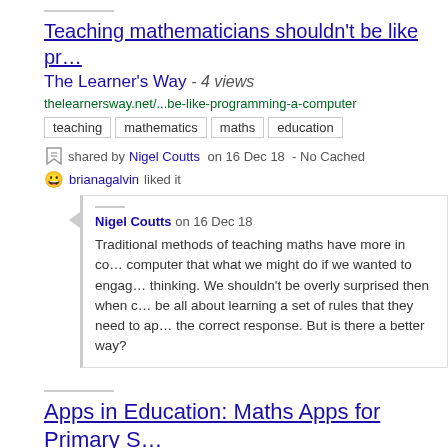Teaching mathematicians shouldn't be like programming a computer
The Learner's Way - 4 views
thelearnersway.net/...be-like-programming-a-computer
teaching   mathematics   maths   education
shared by Nigel Coutts on 16 Dec 18  - No Cached
brianagalvin liked it
Nigel Coutts on 16 Dec 18 — Traditional methods of teaching maths have more in common with programming a computer that what we might do if we wanted to engage students in mathematical thinking. We shouldn't be overly surprised then when children think that maths should be all about learning a set of rules that they need to apply in order to generate the correct response. But is there a better way?
Apps in Education: Maths Apps for Primary S...
appsineducation.blogspot.com/...s-apps-for-primary-school.html
apps   education   maths   primary   school   resources
shared by Tero Toivanen on 18 Mar 12  - No Cached